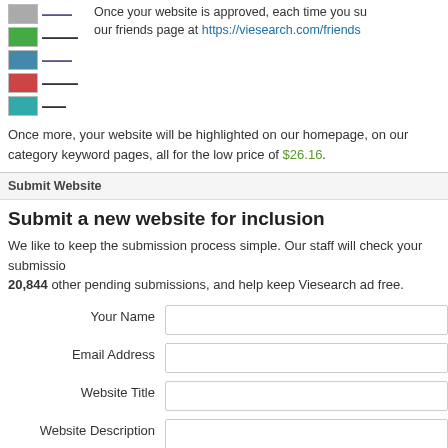[Figure (screenshot): Thumbnail screenshots of website listings with colored bars and text]
Once your website is approved, each time you submit our friends page at https://viesearch.com/friends
Once more, your website will be highlighted on our homepage, on our category keyword pages, all for the low price of $26.16.
Submit Website
Submit a new website for inclusion
We like to keep the submission process simple. Our staff will check your submission, 20,844 other pending submissions, and help keep Viesearch ad free.
| Label | Input |
| --- | --- |
| Your Name |  |
| Email Address |  |
| Website Title |  |
| Website Description |  |
| Website URL |  |